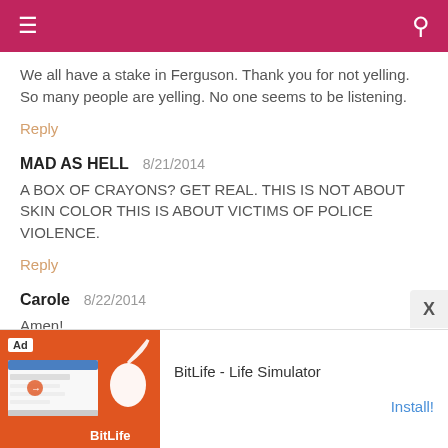≡  🔍
We all have a stake in Ferguson. Thank you for not yelling. So many people are yelling. No one seems to be listening.
Reply
MAD AS HELL   8/21/2014
A BOX OF CRAYONS? GET REAL. THIS IS NOT ABOUT SKIN COLOR THIS IS ABOUT VICTIMS OF POLICE VIOLENCE.
Reply
Carole   8/22/2014
Amen!
Reply
[Figure (screenshot): Ad banner for BitLife - Life Simulator app with orange background, sperm logo, Ad label, and Install button]